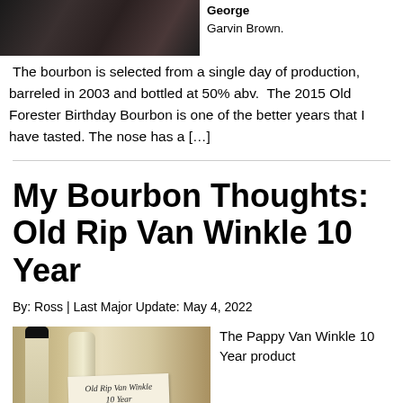[Figure (photo): Photo of bourbon bottles, partially cut off at top]
Garvin Brown.
The bourbon is selected from a single day of production, barreled in 2003 and bottled at 50% abv.  The 2015 Old Forester Birthday Bourbon is one of the better years that I have tasted. The nose has a [...]
My Bourbon Thoughts: Old Rip Van Winkle 10 Year
By: Ross | Last Major Update: May 4, 2022
[Figure (photo): Photo of Old Rip Van Winkle 10 Year bourbon bottles with handwritten label tag]
The Pappy Van Winkle 10 Year product